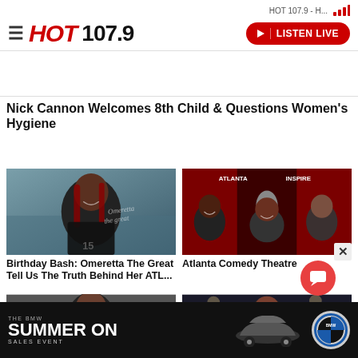HOT 107.9 - H... | LISTEN LIVE
Nick Cannon Welcomes 8th Child & Questions Women's Hygiene
[Figure (photo): Photo of Omeretta The Great smiling, wearing a dark jersey with braids, watermark text 'Omeretta the great']
Birthday Bash: Omeretta The Great Tell Us The Truth Behind Her ATL...
[Figure (photo): Photo of three people posing together at Atlanta Comedy Theatre event, with microphone graphic and red curtain in background]
Atlanta Comedy Theatre
[Figure (photo): Photo of a man wearing sunglasses in formal attire]
[Figure (photo): Photo of a female performer singing on stage]
[Figure (other): BMW Summer On Sales Event advertisement banner with BMW car and logo]